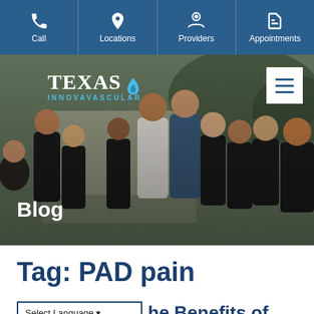Call | Locations | Providers | Appointments
[Figure (photo): Group photo of Texas Innovaascular medical staff in black scrubs with one person in a white coat, standing outdoors. Overlaid with the Texas Innovavascular logo and 'Blog' text label.]
Tag: PAD pain
Select Language ▼
he Benefits of